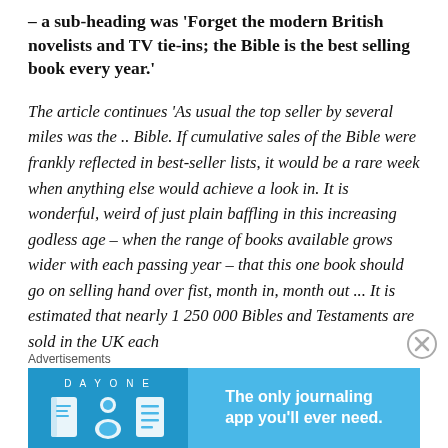– a sub-heading was 'Forget the modern British novelists and TV tie-ins; the Bible is the best selling book every year.'
The article continues 'As usual the top seller by several miles was the .. Bible. If cumulative sales of the Bible were frankly reflected in best-seller lists, it would be a rare week when anything else would achieve a look in. It is wonderful, weird of just plain baffling in this increasing godless age – when the range of books available grows wider with each passing year – that this one book should go on selling hand over fist, month in, month out ... It is estimated that nearly 1 250 000 Bibles and Testaments are sold in the UK each
Advertisements
[Figure (infographic): Day One journaling app advertisement banner with blue background, app icons, and text 'The only journaling app you'll ever need.']